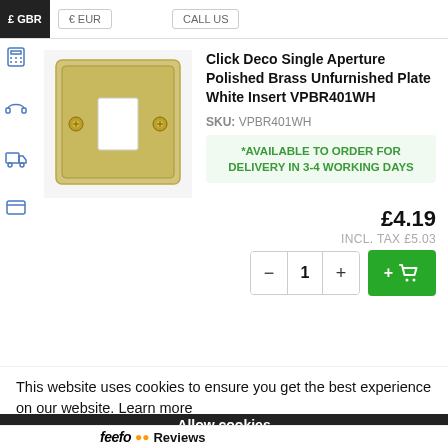£ GBR   € EUR   CALL US
Click Deco Single Aperture Polished Brass Unfurnished Plate White Insert VPBR401WH
SKU: VPBR401WH
*AVAILABLE TO ORDER FOR DELIVERY IN 3-4 WORKING DAYS
[Figure (photo): Polished brass single aperture wall plate with white insert, showing two gold screws and a rectangular white module opening]
£4.19
INCL. TAX £5.03
- 1 + [Add to cart button]
This website uses cookies to ensure you get the best experience on our website. Learn more
Allow cookies
feefo Reviews